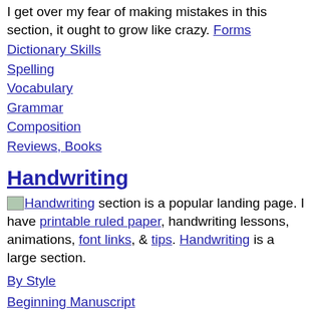I get over my fear of making mistakes in this section, it ought to grow like crazy. Forms
Dictionary Skills
Spelling
Vocabulary
Grammar
Composition
Reviews, Books
Handwriting
[HandwritingThe Handwriting section is a popular landing page. I have printable ruled paper, handwriting lessons, animations, font links, & tips. Handwriting is a large section.
By Style
Beginning Manuscript
133 Lessons- 100EZ
Small Print
Cursive Handwriting
Paper
Tips